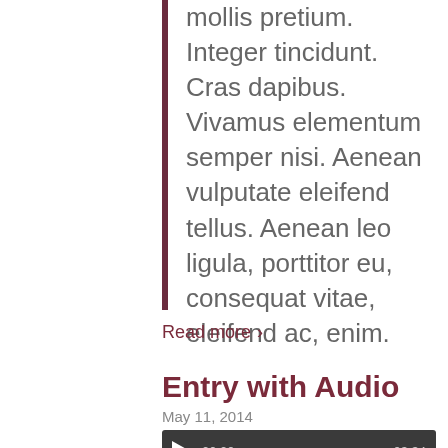mollis pretium. Integer tincidunt. Cras dapibus. Vivamus elementum semper nisi. Aenean vulputate eleifend tellus. Aenean leo ligula, porttitor eu, consequat vitae, eleifend ac, enim.
Read more >
Entry with Audio
May 11, 2014
[Figure (other): Audio player with play button, timestamp 00:00 and duration 03:34, dark background]